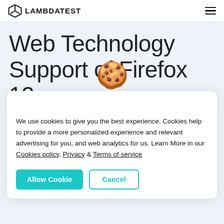LAMBDATEST
Web Technology Support of Firefox 12
[Figure (illustration): Cookie emoji illustration]
We use cookies to give you the best experience. Cookies help to provide a more personalized experience and relevant advertising for you, and web analytics for us. Learn More in our Cookies policy, Privacy & Terms of service
Allow Cookie | Cancel